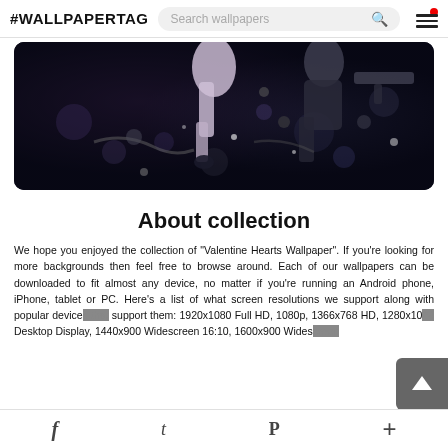#WALLPAPERTAG
[Figure (illustration): Dark fantasy/action scene wallpaper showing animated characters with weapons against a dark background with bokeh effects]
About collection
We hope you enjoyed the collection of "Valentine Hearts Wallpaper". If you're looking for more backgrounds then feel free to browse around. Each of our wallpapers can be downloaded to fit almost any device, no matter if you're running an Android phone, iPhone, tablet or PC. Here's a list of what screen resolutions we support along with popular devices that support them: 1920x1080 Full HD, 1080p, 1366x768 HD, 1280x1024 Desktop Display, 1440x900 Widescreen 16:10, 1600x900 Widescreen
f  t  P  +